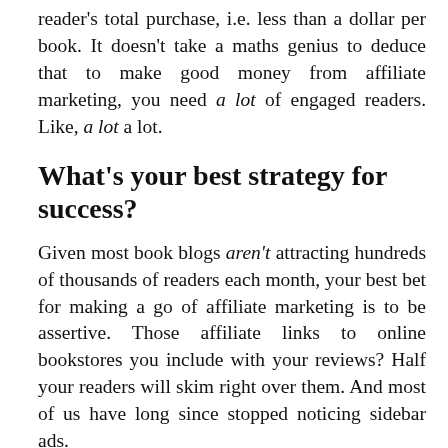reader's total purchase, i.e. less than a dollar per book. It doesn't take a maths genius to deduce that to make good money from affiliate marketing, you need a lot of engaged readers. Like, a lot a lot.
What's your best strategy for success?
Given most book blogs aren't attracting hundreds of thousands of readers each month, your best bet for making a go of affiliate marketing is to be assertive. Those affiliate links to online bookstores you include with your reviews? Half your readers will skim right over them. And most of us have long since stopped noticing sidebar ads.
I have far better luck when I incorporate affiliate links into the body of a post. For example, if I'm writing about editing tips, I'll mention that I use Grammarly and include a link like this one so that